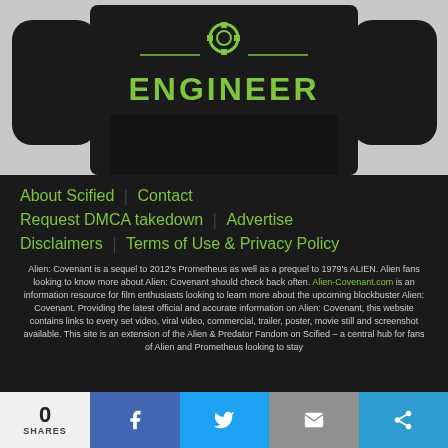[Figure (photo): Black hoodie sweatshirt with green text reading ENGINEER and a gear/wrench icon on a dark background, displayed against a light gray background]
About Scified   Contact
Request DMCA takedown   Advertise
Disclaimers   Terms of Use & Privacy Policy
Alien: Covenant is a sequel to 2012's Prometheus as well as a prequel to 1979's ALIEN. Alien fans looking to know more about Alien: Covenant should check back often. Alien-Covenant.com is an information resource for film enthusiasts looking to learn more about the upcoming blockbuster Alien: Covenant. Providing the latest official and accurate information on Alien: Covenant, this website contains links to every set video, viral video, commercial, trailer, poster, movie still and screenshot available. This site is an extension of the Alien & Predator Fandom on Scified – a central hub for fans of Alien and Prometheus looking to stay
0 SHARES